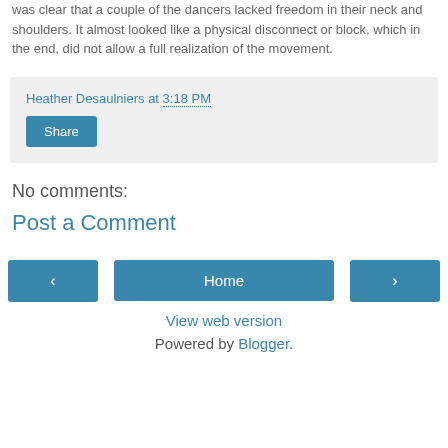was clear that a couple of the dancers lacked freedom in their neck and shoulders. It almost looked like a physical disconnect or block, which in the end, did not allow a full realization of the movement.
Heather Desaulniers at 3:18 PM
Share
No comments:
Post a Comment
‹
Home
›
View web version
Powered by Blogger.